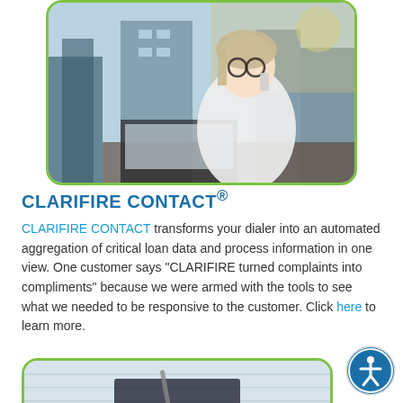[Figure (photo): Woman with glasses talking on phone, sitting at desk with laptop, city buildings in background, photo with rounded corners and green border]
CLARIFIRE CONTACT®
CLARIFIRE CONTACT transforms your dialer into an automated aggregation of critical loan data and process information in one view. One customer says "CLARIFIRE turned complaints into compliments" because we were armed with the tools to see what we needed to be responsive to the customer. Click here to learn more.
[Figure (photo): Partial view of a notebook or document on a desk, photo with rounded corners and green border, partially visible at bottom of page]